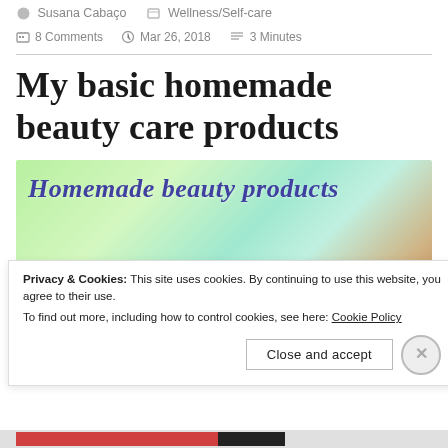Susana Cabaço   Wellness/Self-care
8 Comments   Mar 26, 2018   3 Minutes
My basic homemade beauty care products
[Figure (illustration): Banner image with text 'Homemade beauty products' in blue italic bold font on a green and nature background]
Privacy & Cookies: This site uses cookies. By continuing to use this website, you agree to their use.
To find out more, including how to control cookies, see here: Cookie Policy